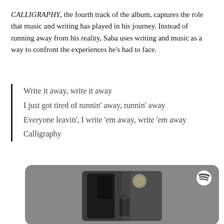CALLIGRAPHY, the fourth track of the album, captures the role that music and writing has played in his journey. Instead of running away from his reality, Saba uses writing and music as a way to confront the experiences he's had to face.
Write it away, write it away
I just got tired of runnin' away, runnin' away
Everyone leavin', I write 'em away, write 'em away
Calligraphy
[Figure (screenshot): Spotify embed player showing a black and white photo of a figure in a dimly lit room with a light source visible, Spotify logo in top right corner]